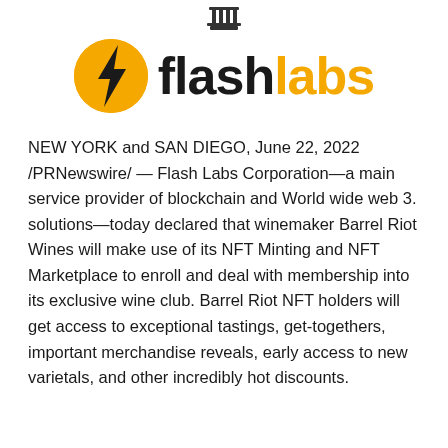[Figure (logo): Small decorative architectural/pillar icon at top center]
[Figure (logo): Flash Labs Corporation logo: yellow and black lightning bolt circle icon with 'flash' in black bold and 'labs' in yellow bold text]
NEW YORK and SAN DIEGO, June 22, 2022 /PRNewswire/ — Flash Labs Corporation—a main service provider of blockchain and World wide web 3. solutions—today declared that winemaker Barrel Riot Wines will make use of its NFT Minting and NFT Marketplace to enroll and deal with membership into its exclusive wine club. Barrel Riot NFT holders will get access to exceptional tastings, get-togethers, important merchandise reveals, early access to new varietals, and other incredibly hot discounts.